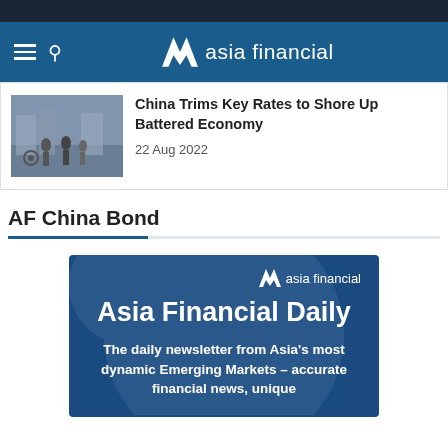asia financial
[Figure (photo): People walking on a street in China, winter scene]
China Trims Key Rates to Shore Up Battered Economy
22 Aug 2022
AF China Bond
[Figure (infographic): Asia Financial Daily newsletter promotional banner with logo and tagline: The daily newsletter from Asia's most dynamic Emerging Markets – accurate financial news, unique]
The daily newsletter from Asia's most dynamic Emerging Markets – accurate financial news, unique